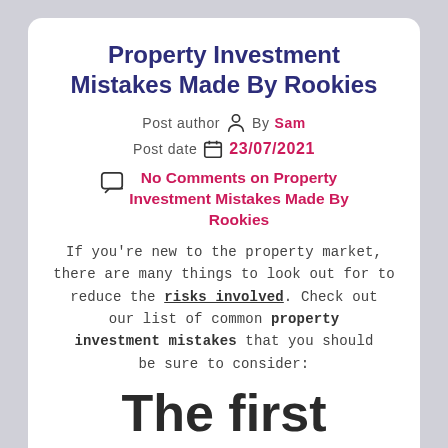Property Investment Mistakes Made By Rookies
Post author By Sam
Post date 23/07/2021
No Comments on Property Investment Mistakes Made By Rookies
If you're new to the property market, there are many things to look out for to reduce the risks involved. Check out our list of common property investment mistakes that you should be sure to consider:
The first mistake is